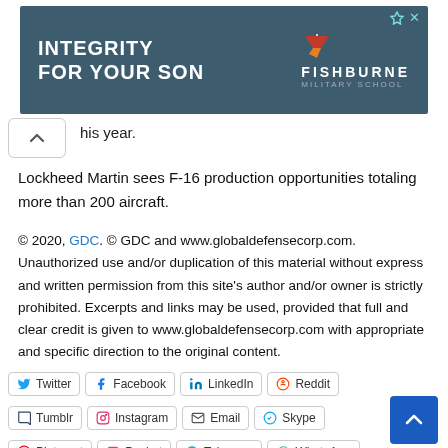[Figure (other): Advertisement banner for Fishburne Military School with dark teal background. Text reads 'INTEGRITY FOR YOUR SON' with Fishburne logo and funnel icon.]
his year.
Lockheed Martin sees F-16 production opportunities totaling more than 200 aircraft.
© 2020, GDC. © GDC and www.globaldefensecorp.com. Unauthorized use and/or duplication of this material without express and written permission from this site's author and/or owner is strictly prohibited. Excerpts and links may be used, provided that full and clear credit is given to www.globaldefensecorp.com with appropriate and specific direction to the original content.
Twitter | Facebook | LinkedIn | Reddit | Tumblr | Instagram | Email | Skype | Pinterest | Pocket | Telegram | WhatsApp